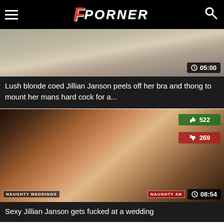FPORNER
[Figure (screenshot): Video thumbnail showing a scene, with duration badge showing 05:00]
Lush blonde coed Jillian Janson peels off her bra and thong to mount her mans hard cock for a...
[Figure (screenshot): Video thumbnail showing a scene with like count 522 and dislike count 269, duration 08:54, Naughty Weddings / Naughty America watermarks]
Sexy Jillian Janson gets fucked at a wedding